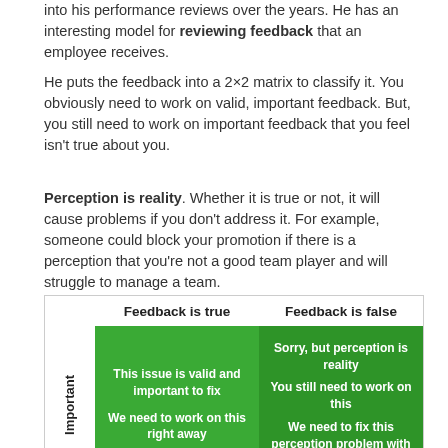into his performance reviews over the years. He has an interesting model for reviewing feedback that an employee receives.
He puts the feedback into a 2×2 matrix to classify it. You obviously need to work on valid, important feedback. But, you still need to work on important feedback that you feel isn't true about you.
Perception is reality. Whether it is true or not, it will cause problems if you don't address it. For example, someone could block your promotion if there is a perception that you're not a good team player and will struggle to manage a team.
[Figure (table-as-image): 2x2 matrix with axes 'Feedback is true' / 'Feedback is false' (columns) and 'Important' (row label). Top-left green cell: 'This issue is valid and important to fix / We need to work on this right away'. Top-right darker green cell: 'Sorry, but perception is reality / You still need to work on this / We need to fix this perception problem with you'. Bottom row partially visible with gray cells.]